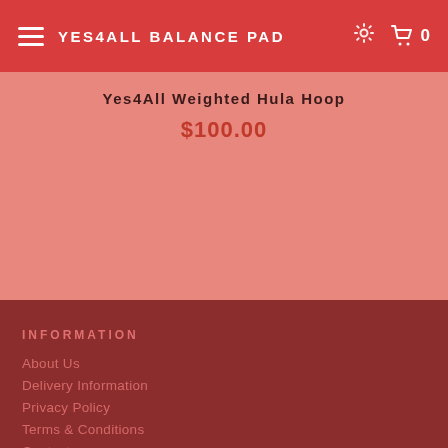YES4ALL BALANCE PAD
Yes4All Weighted Hula Hoop
$100.00
INFORMATION
About Us
Delivery Information
Privacy Policy
Terms & Conditions
Contacts
Returns
Blog